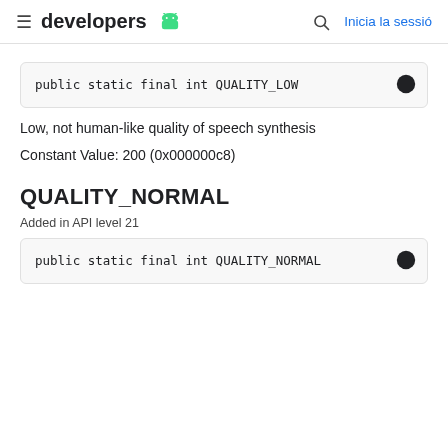developers | Inicia la sessió
public static final int QUALITY_LOW
Low, not human-like quality of speech synthesis
Constant Value: 200 (0x000000c8)
QUALITY_NORMAL
Added in API level 21
public static final int QUALITY_NORMAL